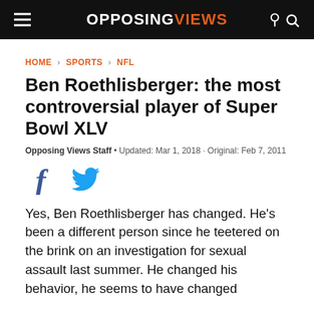OPPOSING VIEWS
HOME > SPORTS > NFL
Ben Roethlisberger: the most controversial player of Super Bowl XLV
Opposing Views Staff • Updated: Mar 1, 2018 · Original: Feb 7, 2011
[Figure (other): Social share icons: Facebook and Twitter]
Yes, Ben Roethlisberger has changed. He’s been a different person since he teetered on the brink on an investigation for sexual assault last summer. He changed his behavior, he seems to have changed